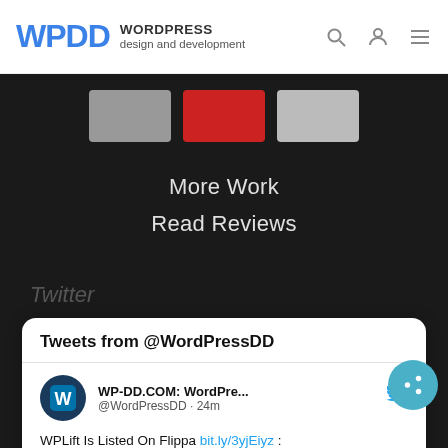WPDD WORDPRESS design and development
[Figure (screenshot): Three thumbnail images in a strip on dark background]
More Work
Read Reviews
Twitter
[Figure (screenshot): Embedded Twitter widget showing Tweets from @WordPressDD. Tweet by WP-DD.COM: WordPre... @WordPressDD · 24m. WPLift Is Listed On Flippa bit.ly/3yjEiyz : #WordPress #WebDesign #WebDevelopment. Preview image of wp-dd.com]